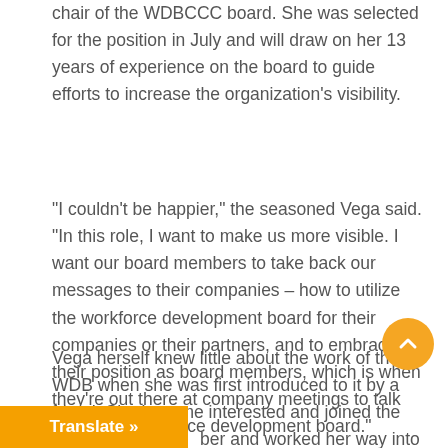chair of the WDBCCC board. She was selected for the position in July and will draw on her 13 years of experience on the board to guide efforts to increase the organization's visibility.
“I couldn’t be happier,” the seasoned Vega said. “In this role, I want to make us more visible. I want our board members to take back our messages to their companies – how to utilize the workforce development board for their companies or their partners, and to embrace their position as board members, which is when they’re out there at company meetings to talk about the workforce development board.”
Vega herself knew little about the work of the WDB when she was first introduced to it by a friend. She became interested and joined the Youth Council in [Octo]ber and worked her way into positions